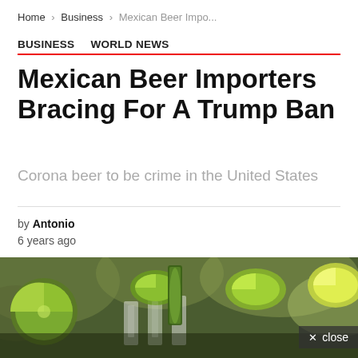Home › Business › Mexican Beer Impo...
BUSINESS   WORLD NEWS
Mexican Beer Importers Bracing For A Trump Ban
Corona beer to be crime in the United States
by Antonio
6 years ago
[Figure (photo): Close-up photo of lime wedges placed on top of shot glasses, with a blurred green background]